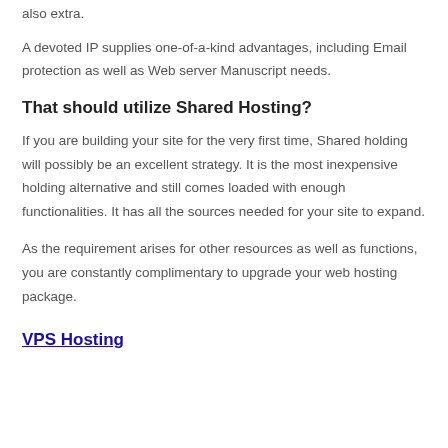also extra.
A devoted IP supplies one-of-a-kind advantages, including Email protection as well as Web server Manuscript needs.
That should utilize Shared Hosting?
If you are building your site for the very first time, Shared holding will possibly be an excellent strategy. It is the most inexpensive holding alternative and still comes loaded with enough functionalities. It has all the sources needed for your site to expand.
As the requirement arises for other resources as well as functions, you are constantly complimentary to upgrade your web hosting package.
VPS Hosting